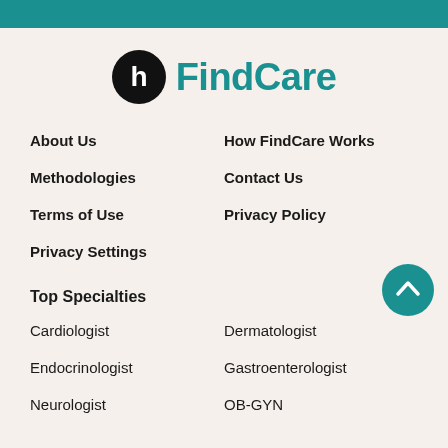[Figure (logo): Healthline FindCare logo — black circle with white 'h' icon and teal 'FindCare' text]
About Us
How FindCare Works
Methodologies
Contact Us
Terms of Use
Privacy Policy
Privacy Settings
Top Specialties
Cardiologist
Dermatologist
Endocrinologist
Gastroenterologist
Neurologist
OB-GYN